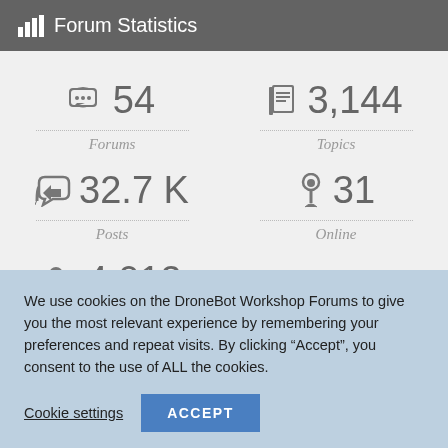Forum Statistics
54 Forums
3,144 Topics
32.7 K Posts
31 Online
4,012 Members
We use cookies on the DroneBot Workshop Forums to give you the most relevant experience by remembering your preferences and repeat visits. By clicking “Accept”, you consent to the use of ALL the cookies.
Cookie settings
ACCEPT